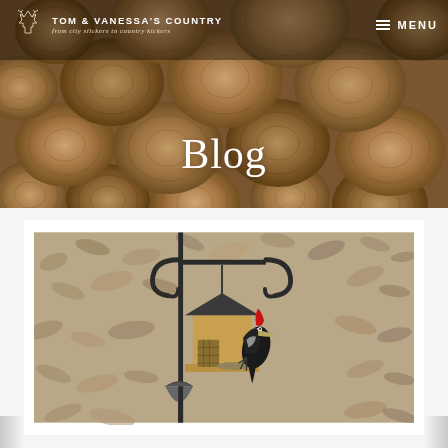[Figure (photo): Hero banner showing stacked firewood logs viewed from the cut ends, in warm brown tones, used as background for the blog header]
TOM & VANESSA'S COUNTRY
from city slickers to country kickers
— MENU
Blog
[Figure (photo): A pileated woodpecker with distinctive red crest clinging to a wooden bird feeder hanging from a black shepherd's hook pole, with a leaf-covered ground in the background]